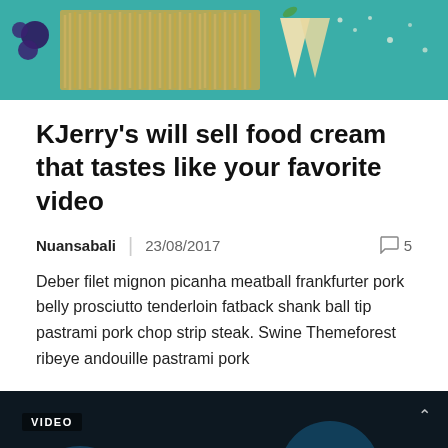[Figure (photo): Food photo showing pasta, cream desserts, blueberries on teal/blue background]
KJerry's will sell food cream that tastes like your favorite video
Nuansabali  |  23/08/2017   5
Deber filet mignon picanha meatball frankfurter pork belly prosciutto tenderloin fatback shank ball tip pastrami pork chop strip steak. Swine Themeforest ribeye andouille pastrami pork
[Figure (screenshot): Video thumbnail showing a camera with bokeh lights in dark background, with VIDEO label overlay and play button]